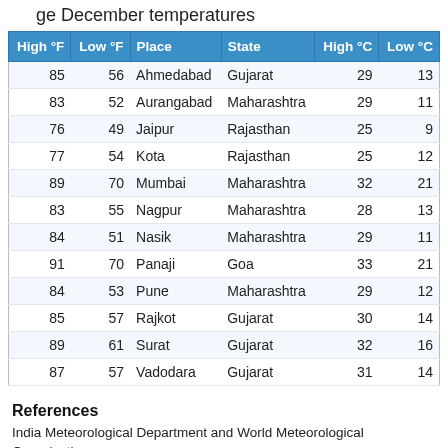ge December temperatures
| High °F | Low °F | Place | State | High °C | Low °C |
| --- | --- | --- | --- | --- | --- |
| 85 | 56 | Ahmedabad | Gujarat | 29 | 13 |
| 83 | 52 | Aurangabad | Maharashtra | 29 | 11 |
| 76 | 49 | Jaipur | Rajasthan | 25 | 9 |
| 77 | 54 | Kota | Rajasthan | 25 | 12 |
| 89 | 70 | Mumbai | Maharashtra | 32 | 21 |
| 83 | 55 | Nagpur | Maharashtra | 28 | 13 |
| 84 | 51 | Nasik | Maharashtra | 29 | 11 |
| 91 | 70 | Panaji | Goa | 33 | 21 |
| 84 | 53 | Pune | Maharashtra | 29 | 12 |
| 85 | 57 | Rajkot | Gujarat | 30 | 14 |
| 89 | 61 | Surat | Gujarat | 32 | 16 |
| 87 | 57 | Vadodara | Gujarat | 31 | 14 |
References
India Meteorological Department and World Meteorological Organization.
World Weather Information Service.